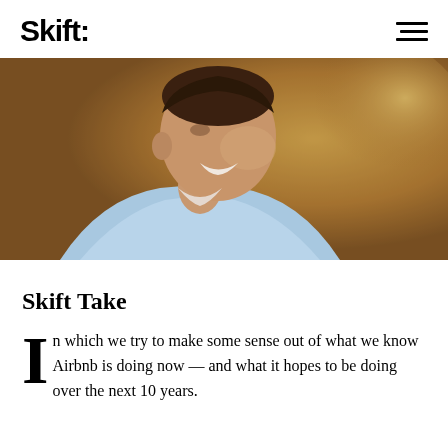Skift
[Figure (photo): A smiling young man in a light blue button-up shirt, photographed from the side/three-quarter angle, with a warm golden bokeh background.]
Skift Take
In which we try to make some sense out of what we know Airbnb is doing now — and what it hopes to be doing over the next 10 years.